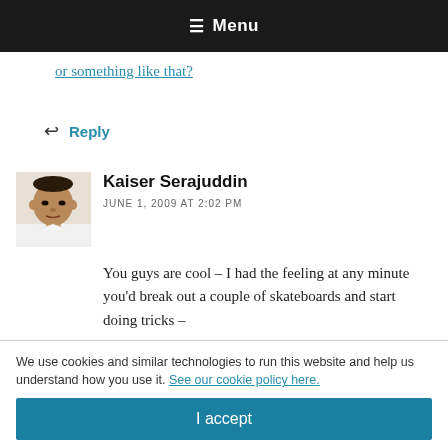☰ Menu
or something like that?
↩ Reply
Kaiser Serajuddin
JUNE 1, 2009 AT 2:02 PM
You guys are cool – I had the feeling at any minute you'd break out a couple of skateboards and start doing tricks –
We use cookies and similar technologies to run this website and help us understand how you use it. See our cookie policy here.
I accept
I consider myself an avid reader, and what's funny